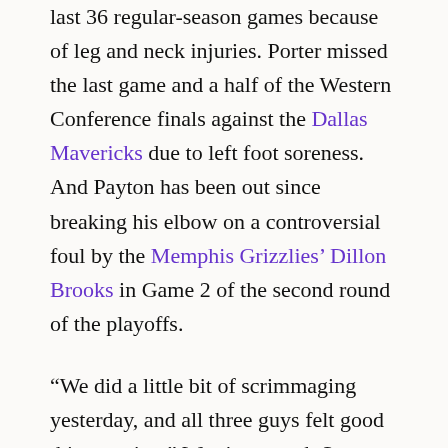last 36 regular-season games because of leg and neck injuries. Porter missed the last game and a half of the Western Conference finals against the Dallas Mavericks due to left foot soreness. And Payton has been out since breaking his elbow on a controversial foul by the Memphis Grizzlies' Dillon Brooks in Game 2 of the second round of the playoffs.
“We did a little bit of scrimmaging yesterday, and all three guys felt good this morning,” Warriors coach Steve Kerr said ahead of the Finals opener. “We’ll see how it plays out. I think a lot of our decisions, especially here in Game 1, you’ve got to feel how the game is going, try to decide what combinations we need out there. But it’s great to have all three guys back, and I think all three can contribute for sure.”
2 Related
Draymond Green has talked about Payton’s ability to provide the Warriors with another hard-nosed defender once he is back. Porter